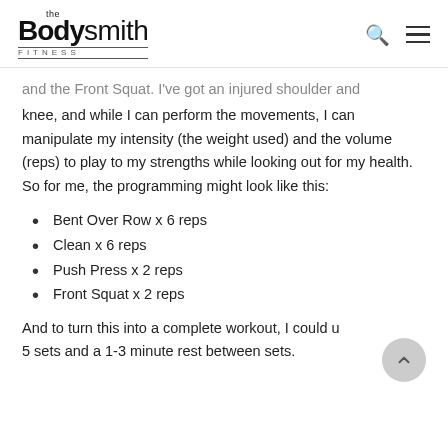the Bodysmith FITNESS
and the Front Squat. I've got an injured shoulder and knee, and while I can perform the movements, I can manipulate my intensity (the weight used) and the volume (reps) to play to my strengths while looking out for my health. So for me, the programming might look like this:
Bent Over Row x 6 reps
Clean x 6 reps
Push Press x 2 reps
Front Squat x 2 reps
And to turn this into a complete workout, I could use 5 sets and a 1-3 minute rest between sets.